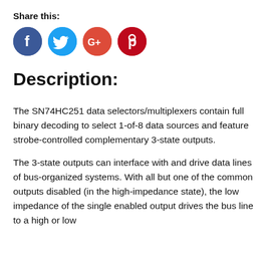Share this:
[Figure (infographic): Four social media share buttons: Facebook (blue circle with f), Twitter (light blue circle with bird), Google+ (red circle with G+), Pinterest (dark red circle with P logo)]
Description:
The SN74HC251 data selectors/multiplexers contain full binary decoding to select 1-of-8 data sources and feature strobe-controlled complementary 3-state outputs.
The 3-state outputs can interface with and drive data lines of bus-organized systems. With all but one of the common outputs disabled (in the high-impedance state), the low impedance of the single enabled output drives the bus line to a high or low